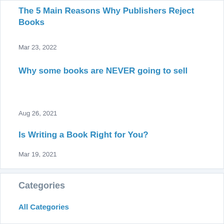The 5 Main Reasons Why Publishers Reject Books
Mar 23, 2022
Why some books are NEVER going to sell
Aug 26, 2021
Is Writing a Book Right for You?
Mar 19, 2021
Categories
All Categories